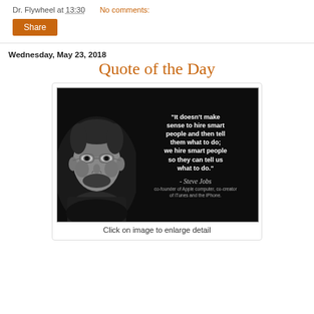Dr. Flywheel at 13:30    No comments:
Share
Wednesday, May 23, 2018
Quote of the Day
[Figure (photo): Black and white photo of Steve Jobs on left side of image; white bold text on black background on right reads: "It doesn't make sense to hire smart people and then tell them what to do; we hire smart people so they can tell us what to do." Attribution: - Steve Jobs, co-founder of Apple computer, co-creator of iTunes and the iPhone.]
Click on image to enlarge detail